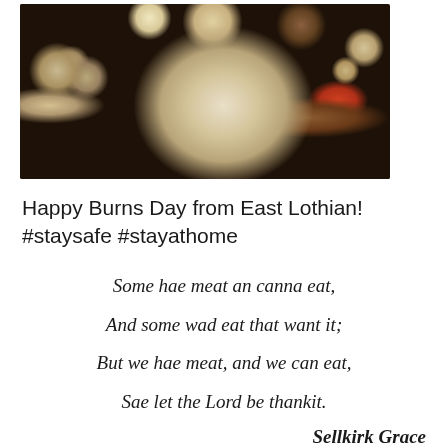[Figure (photo): Overhead photo of various cheeses arranged on a dark wooden board, with nuts, a honey dipper with honey, and a small wooden spoon with jam/chutney.]
Happy Burns Day from East Lothian! #staysafe #stayathome
Some hae meat an canna eat,
And some wad eat that want it;
But we hae meat, and we can eat,
Sae let the Lord be thankit.
Sellkirk Grace